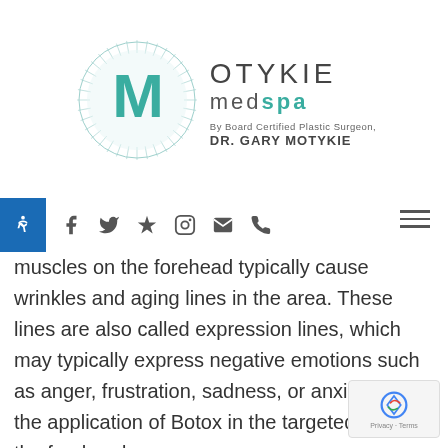[Figure (logo): Motykie MedSpa logo with circular sunburst design, teal M letter, text MOTYKIE medspa, By Board Certified Plastic Surgeon, DR. GARY MOTYKIE]
[Figure (screenshot): Navigation bar with social media icons: Facebook, Twitter, Yelp, Instagram, Email, Phone, and hamburger menu. Accessibility button on left.]
muscles on the forehead typically cause wrinkles and aging lines in the area. These lines are also called expression lines, which may typically express negative emotions such as anger, frustration, sadness, or anxiety. With the application of Botox in the targeted areas of the forehead,